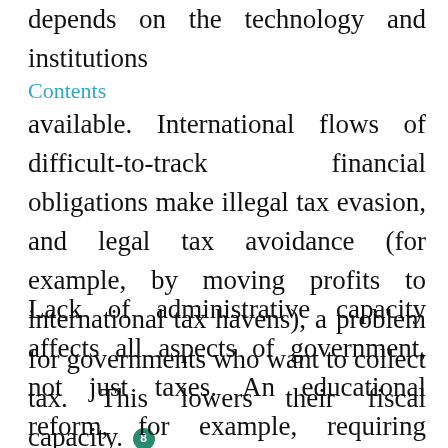depends on the technology and institutions available. International flows of difficult-to-track financial obligations make illegal tax evasion, and legal tax avoidance (for example, by moving profits to international tax havens), a problem for governments who want to collect tax. This lowers their fiscal capacity. [8]
Lack of administrative capacity affects all aspects of government, not just taxes. An educational reform, for example, requiring teachers to abandon rote-learning methods and engage in more active student-centred